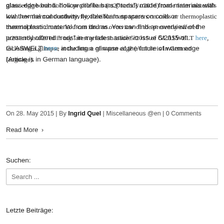glass edge bond: hollow profile bars (“rods”) made from materials with low thermal conductivity, flexible foam spacers on coils or thermoplastic material from drums. You can find an overview of the presently offered “rods” in my latest article in issue 5/2015 of GLASWELT here, including a glimpse at the future of warm edge (Article is in German language).
On 28. May 2015 | By Ingrid Quel | Miscellaneous @en | 0 Comments
Read More ›
Suchen:
Search ...
Letzte Beiträge: